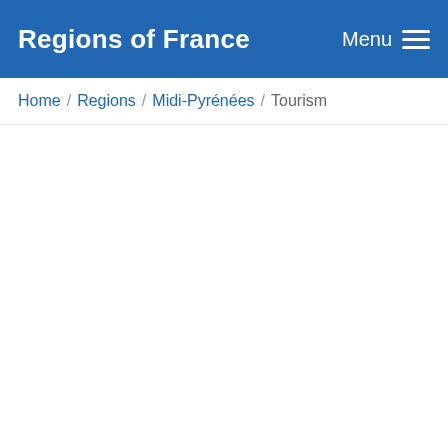Regions of France
Home / Regions / Midi-Pyrénées / Tourism